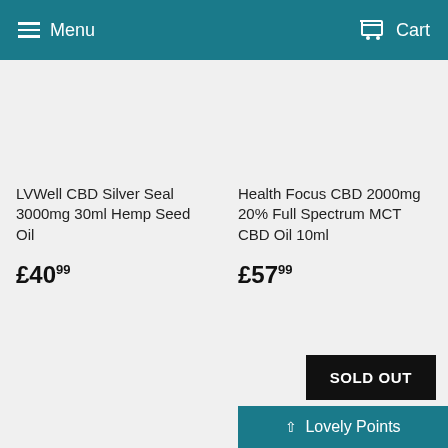Menu  Cart
LVWell CBD Silver Seal 3000mg 30ml Hemp Seed Oil
£40.99
Health Focus CBD 2000mg 20% Full Spectrum MCT CBD Oil 10ml
£57.99
SOLD OUT
Lovely Points